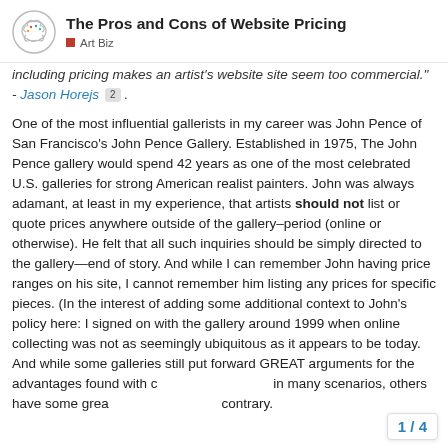The Pros and Cons of Website Pricing | Art Biz
including pricing makes an artist's website site seem too commercial." - Jason Horejs 2 .
One of the most influential gallerists in my career was John Pence of San Francisco's John Pence Gallery. Established in 1975, The John Pence gallery would spend 42 years as one of the most celebrated U.S. galleries for strong American realist painters. John was always adamant, at least in my experience, that artists should not list or quote prices anywhere outside of the gallery–period (online or otherwise). He felt that all such inquiries should be simply directed to the gallery—end of story. And while I can remember John having price ranges on his site, I cannot remember him listing any prices for specific pieces. (In the interest of adding some additional context to John's policy here: I signed on with the gallery around 1999 when online collecting was not as seemingly ubiquitous as it appears to be today. And while some galleries still put forward GREAT arguments for the advantages found with competing, in listing in many scenarios, others have some great arguments to the contrary.